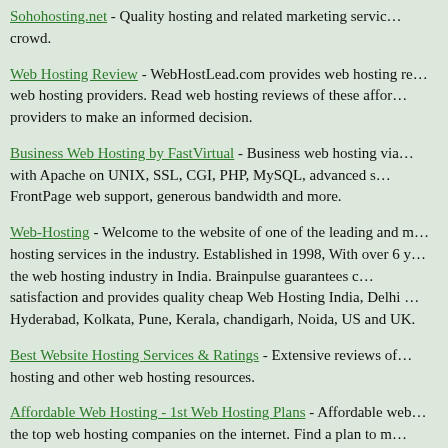Sohohosting.net - Quality hosting and related marketing services for the crowd.
Web Hosting Review - WebHostLead.com provides web hosting reviews of web hosting providers. Read web hosting reviews of these affordable providers to make an informed decision.
Business Web Hosting by FastVirtual - Business web hosting via FastVirtual with Apache on UNIX, SSL, CGI, PHP, MySQL, advanced stats, FrontPage web support, generous bandwidth and more.
Web-Hosting - Welcome to the website of one of the leading and most affordable hosting services in the industry. Established in 1998, With over 6 years in the web hosting industry in India. Brainpulse guarantees complete satisfaction and provides quality cheap Web Hosting India, Delhi Mumbai, Hyderabad, Kolkata, Pune, Kerala, chandigarh, Noida, US and UK.
Best Website Hosting Services & Ratings - Extensive reviews of web hosting and other web hosting resources.
Affordable Web Hosting - 1st Web Hosting Plans - Affordable web hosting from the top web hosting companies on the internet. Find a plan to meet your hosting needs.
Web Hosting - by: Power House Hosting